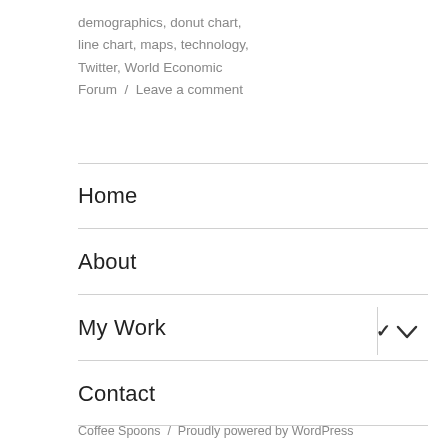demographics, donut chart, line chart, maps, technology, Twitter, World Economic Forum  /  Leave a comment
Home
About
My Work
Contact
Coffee Spoons  /  Proudly powered by WordPress